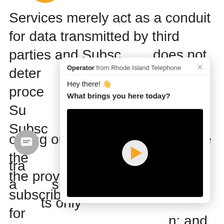Services merely act as a conduit for data transmitted by third parties and Subsc… does not deter… of proce… n. Except for Su… Client (the Subsc… ich rhode island… a conduit for tra… vices are of such a… s, rhode island… ts only …er… n; and opting out or declining to provide the …ted data may hinder the provision or delivery of subscribed services. However, for …
[Figure (screenshot): Chat popup overlay from Rhode Island Telephone operator showing greeting 'Hey there! 👋' and 'What brings you here today?' with a video player (black background with orange play button). Also shows gray chat icon and orange chat button with notification badge '1' in bottom-left corner.]